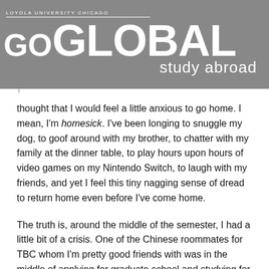LOYOLA UNIVERSITY CHICAGO
GO GLOBAL study abroad
thought that I would feel a little anxious to go home. I mean, I'm homesick. I've been longing to snuggle my dog, to goof around with my brother, to chatter with my family at the dinner table, to play hours upon hours of video games on my Nintendo Switch, to laugh with my friends, and yet I feel this tiny nagging sense of dread to return home even before I've come home.
The truth is, around the middle of the semester, I had a little bit of a crisis. One of the Chinese roommates for TBC whom I'm pretty good friends with was in the middle of applying for graduate school and studying for the GRE. Talking to him and watching him go through this process made me realize something: I only have three semesters left as a